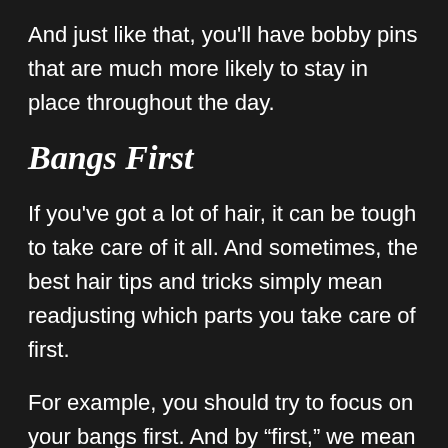And just like that, you'll have bobby pins that are much more likely to stay in place throughout the day.
Bangs First
If you've got a lot of hair, it can be tough to take care of it all. And sometimes, the best hair tips and tricks simply mean readjusting which parts you take care of first.
For example, you should try to focus on your bangs first. And by “first,” we mean that you start styling them as soon as you